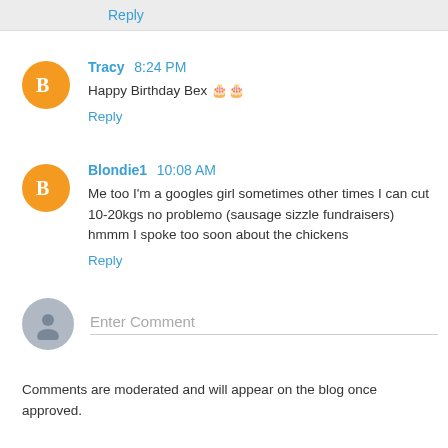Reply
Tracy 8:24 PM
Happy Birthday Bex 🎂🎂
Reply
Blondie1 10:08 AM
Me too I'm a googles girl sometimes other times I can cut 10-20kgs no problemo (sausage sizzle fundraisers) hmmm I spoke too soon about the chickens
Reply
Enter Comment
Comments are moderated and will appear on the blog once approved.